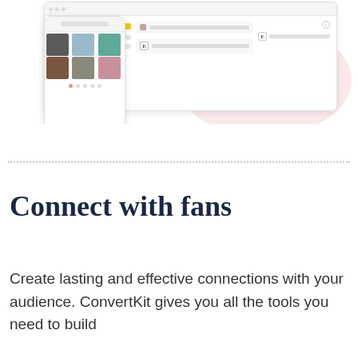[Figure (screenshot): A UI screenshot showing a web application interface (ConvertKit or similar) with a browser window displaying a content management or email tool, and a mobile phone mockup showing a photo grid. There is a pink/rose decorative blob shape in the background.]
Connect with fans
Create lasting and effective connections with your audience. ConvertKit gives you all the tools you need to build